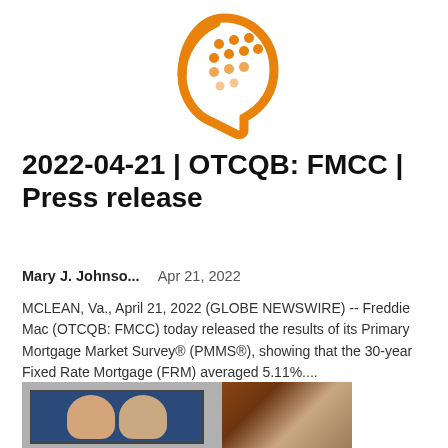[Figure (logo): Orange stylized head/face logo with dots pattern inside, resembling a person's profile with circular dots arranged in a grid pattern on the right side]
2022-04-21 | OTCQB: FMCC | Press release
Mary J. Johnso...   Apr 21, 2022
MCLEAN, Va., April 21, 2022 (GLOBE NEWSWIRE) -- Freddie Mac (OTCQB: FMCC) today released the results of its Primary Mortgage Market Survey® (PMMS®), showing that the 30-year Fixed Rate Mortgage (FRM) averaged 5.11%....
[Figure (photo): Photograph showing a television screen displaying two news anchors or people, with a person's hair/side of head visible in the foreground on the right]